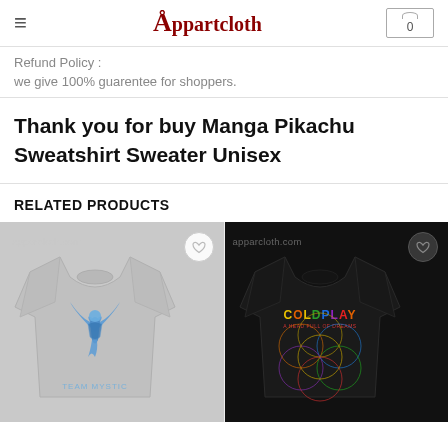Appartcloth
Refund Policy :
we give 100% guarentee for shoppers.
Thank you for buy Manga Pikachu Sweatshirt Sweater Unisex
RELATED PRODUCTS
[Figure (photo): Gray Team Mystic sweatshirt with blue phoenix/bird logo and 'TEAM MYSTIC' text, with apparcloth.com watermark and heart wishlist button]
[Figure (photo): Black Coldplay 'A Head Full of Dreams' sweatshirt with colorful logo and flower of life design, with apparcloth.com watermark and heart wishlist button]